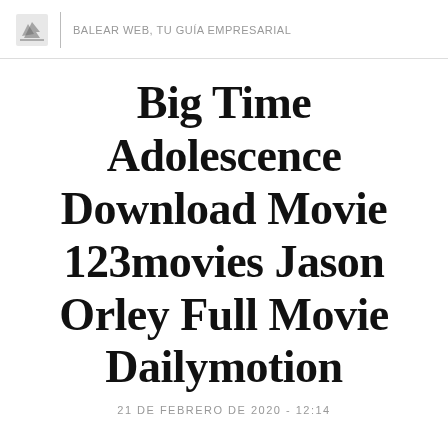BALEAR WEB, TU GUÍA EMPRESARIAL
Big Time Adolescence Download Movie 123movies Jason Orley Full Movie Dailymotion
21 DE FEBRERO DE 2020 - 12:14
↓ ↓ ↓ ↓ ↓ ↓ ↓ ↓ ↓ ↓ ↓ ↓